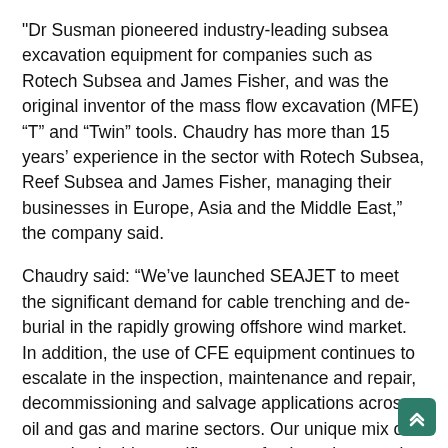"Dr Susman pioneered industry-leading subsea excavation equipment for companies such as Rotech Subsea and James Fisher, and was the original inventor of the mass flow excavation (MFE) “T” and “Twin” tools. Chaudry has more than 15 years’ experience in the sector with Rotech Subsea, Reef Subsea and James Fisher, managing their businesses in Europe, Asia and the Middle East,” the company said.
Chaudry said: “We’ve launched SEAJET to meet the significant demand for cable trenching and de-burial in the rapidly growing offshore wind market. In addition, the use of CFE equipment continues to escalate in the inspection, maintenance and repair, decommissioning and salvage applications across oil and gas and marine sectors. Our unique mix of expertise in this specific area of subsea intervention provides customers with a solution they can trust.”
Dr Susman said:“Having designed 95% of the CFE tools